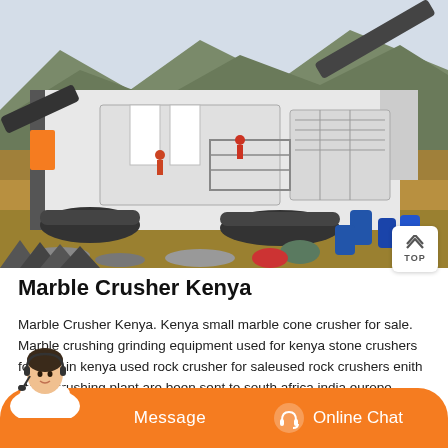[Figure (photo): Outdoor photo of a large mobile stone crusher machine at a quarry site in Kenya, with mountains in the background, blue barrels, and rocky terrain.]
Marble Crusher Kenya
Marble Crusher Kenya. Kenya small marble cone crusher for sale. Marble crushing grinding equipment used for kenya stone crushers for sale in kenya used rock crusher for saleused rock crushers enith stone crushing plant are been sent to south africa india europe united states kenya asia the middle east get